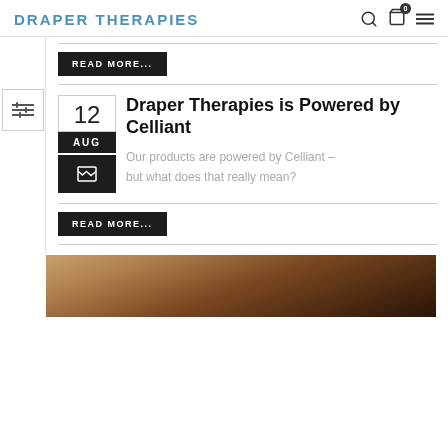DRAPER THERAPIES
[Figure (screenshot): READ MORE button above divider]
READ MORE...
12 AUG
Draper Therapies is Powered by Celliant
Our products are powered by Celliant – but what does that really mean?
READ MORE...
[Figure (photo): Bottom photo showing equestrian/horse leg wraps]